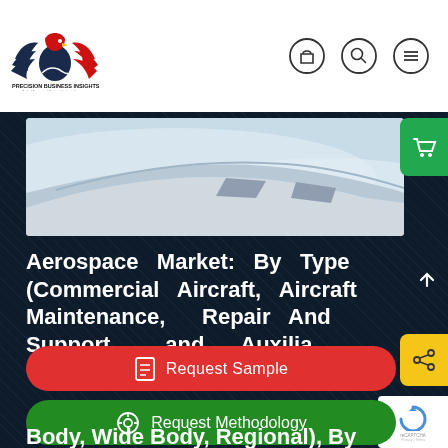[Figure (logo): Precision Business Insights eagle/handshake logo with company name and tagline]
[Figure (photo): Aerial view of airplane wing above clouds — aircraft in flight]
Aerospace Market: By Type (Commercial Aircraft, Aircraft Maintenance, Repair And Support, and Auxilia... Body, Wide Body, Regional), By
[Figure (other): Red 'Request Sample' button with document icon]
[Figure (other): Green 'Request Methodology' button with settings icon]